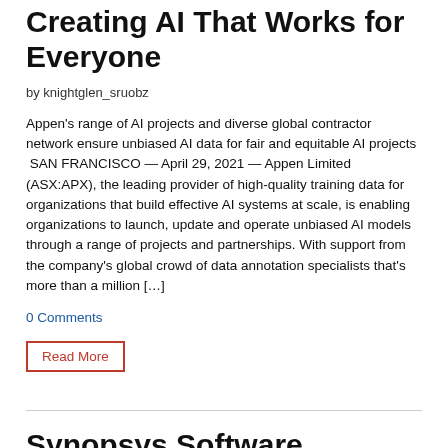Creating AI That Works for Everyone
by knightglen_sruobz
Appen's range of AI projects and diverse global contractor network ensure unbiased AI data for fair and equitable AI projects  SAN FRANCISCO — April 29, 2021 — Appen Limited (ASX:APX), the leading provider of high-quality training data for organizations that build effective AI systems at scale, is enabling organizations to launch, update and operate unbiased AI models through a range of projects and partnerships. With support from the company's global crowd of data annotation specialists that's more than a million […]
0 Comments
Read More
Synopsys Software Integrity Group Expands Channel Partner